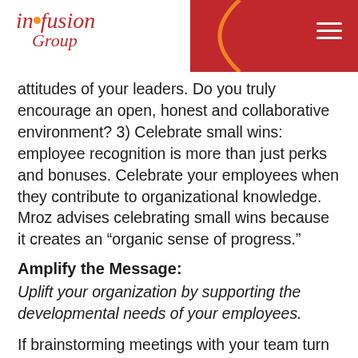in•fusion Group
attitudes of your leaders. Do you truly encourage an open, honest and collaborative environment? 3) Celebrate small wins: employee recognition is more than just perks and bonuses. Celebrate your employees when they contribute to organizational knowledge. Mroz advises celebrating small wins because it creates an “organic sense of progress.”
Amplify the Message:
Uplift your organization by supporting the developmental needs of your employees.
If brainstorming meetings with your team turn